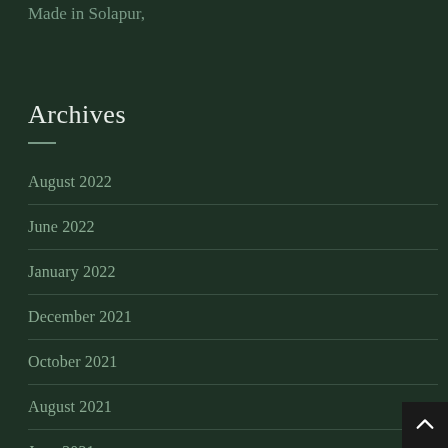Made in Solapur,
Archives
August 2022
June 2022
January 2022
December 2021
October 2021
August 2021
June 2021
May 2021